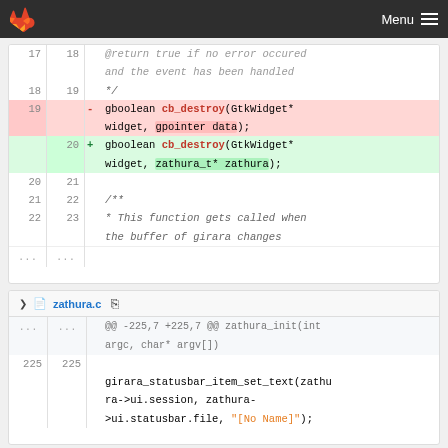GitLab — Menu
[Figure (screenshot): Git diff view showing code change in a C file. Lines 17-22 shown with context, line 19 removed (gboolean cb_destroy with gpointer data parameter) and line 20 added (gboolean cb_destroy with zathura_t* zathura parameter).]
[Figure (screenshot): Git diff view for zathura.c showing hunk @@ -225,7 +225,7 @@ zathura_init(int argc, char* argv[]). Line 225 context showing girara_statusbar_item_set_text call with [No Name] string literal.]